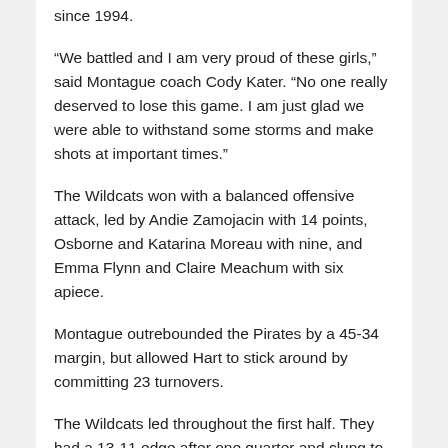since 1994.
“We battled and I am very proud of these girls,” said Montague coach Cody Kater. “No one really deserved to lose this game. I am just glad we were able to withstand some storms and make shots at important times.”
The Wildcats won with a balanced offensive attack, led by Andie Zamojacin with 14 points, Osborne and Katarina Moreau with nine, and Emma Flynn and Claire Meachum with six apiece.
Montague outrebounded the Pirates by a 45-34 margin, but allowed Hart to stick around by committing 23 turnovers.
The Wildcats led throughout the first half. They had a 13-11 edge after one quarter and clung to a 21-20 lead at halftime.